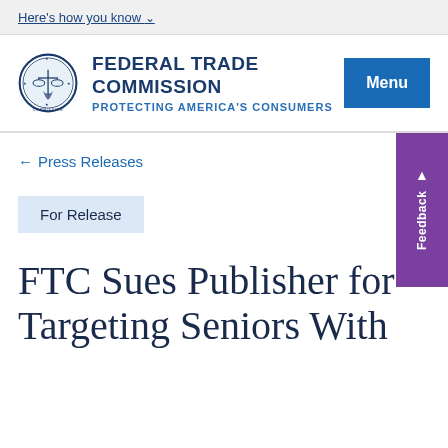Here's how you know
[Figure (logo): Federal Trade Commission official seal, circular blue emblem with scales of justice]
FEDERAL TRADE COMMISSION
PROTECTING AMERICA'S CONSUMERS
Menu
← Press Releases
Feedback
For Release
FTC Sues Publisher for Targeting Seniors With